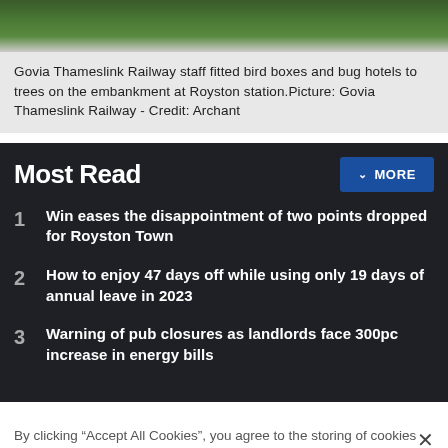[Figure (photo): Top portion of a photo showing trees with green foliage and embankment vegetation]
Govia Thameslink Railway staff fitted bird boxes and bug hotels to trees on the embankment at Royston station.Picture: Govia Thameslink Railway - Credit: Archant
Most Read
Win eases the disappointment of two points dropped for Royston Town
How to enjoy 47 days off while using only 19 days of annual leave in 2023
Warning of pub closures as landlords face 300pc increase in energy bills
By clicking “Accept All Cookies”, you agree to the storing of cookies on your device to enhance site navigation, analyze site usage, and assist in our marketing efforts.